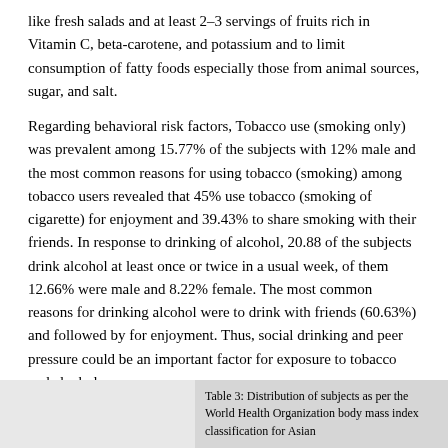like fresh salads and at least 2–3 servings of fruits rich in Vitamin C, beta-carotene, and potassium and to limit consumption of fatty foods especially those from animal sources, sugar, and salt.
Regarding behavioral risk factors, Tobacco use (smoking only) was prevalent among 15.77% of the subjects with 12% male and the most common reasons for using tobacco (smoking) among tobacco users revealed that 45% use tobacco (smoking of cigarette) for enjoyment and 39.43% to share smoking with their friends. In response to drinking of alcohol, 20.88 of the subjects drink alcohol at least once or twice in a usual week, of them 12.66% were male and 8.22% female. The most common reasons for drinking alcohol were to drink with friends (60.63%) and followed by for enjoyment. Thus, social drinking and peer pressure could be an important factor for exposure to tobacco and alcohol.
As per the WHO classification of BMI for adults Asian (Indian), 31.55% of the subjects were in the category of overweight and obese and 8.22% underweight [Table - 3].
Table 3: Distribution of subjects as per the World Health Organization body mass index classification for Asian